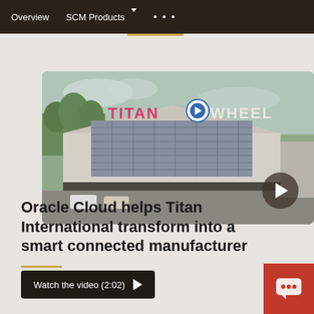Overview   SCM Products ∨   • • •
[Figure (screenshot): Aerial or ground-level photograph of a large industrial building with 'TITAN WHEEL' signage on the facade, with parking lot in foreground. A play button overlay appears in the lower right corner of the image.]
Oracle Cloud helps Titan International transform into a smart connected manufacturer
Watch the video (2:02)